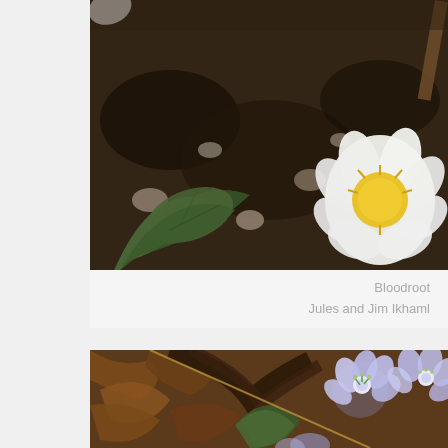[Figure (photo): Close-up photograph of a white Bloodroot flower with yellow center, growing from dark soil with small stones and green leaves visible. Partial white petal/egg shape visible at top.]
Bloodroot
Jules and Jim Ikhaml
[Figure (photo): Close-up photograph of purple/lavender hepatica flowers with white stamens and green leaves, surrounded by brown dried leaves on the forest floor.]